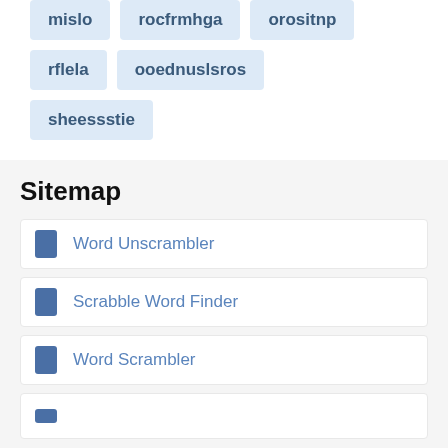mislo
rocfrmhga
orositnp
rflela
ooednuslsros
sheessstie
Sitemap
Word Unscrambler
Scrabble Word Finder
Word Scrambler